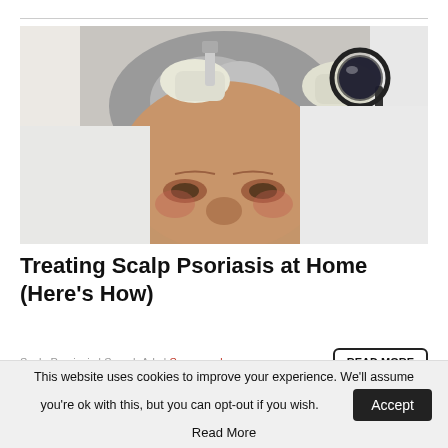[Figure (photo): A doctor in a white coat and latex gloves examining an elderly man's scalp with a magnifying glass. The patient has gray hair and appears to be in a clinical setting.]
Treating Scalp Psoriasis at Home (Here's How)
Scalp Psoriasis | Search Ads | Sponsored
READ MORE
This website uses cookies to improve your experience. We'll assume you're ok with this, but you can opt-out if you wish. Accept Read More